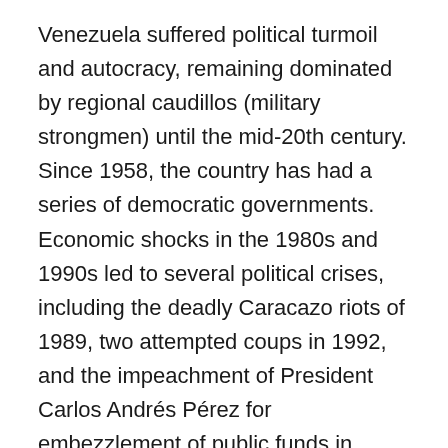Venezuela suffered political turmoil and autocracy, remaining dominated by regional caudillos (military strongmen) until the mid-20th century. Since 1958, the country has had a series of democratic governments. Economic shocks in the 1980s and 1990s led to several political crises, including the deadly Caracazo riots of 1989, two attempted coups in 1992, and the impeachment of President Carlos Andrés Pérez for embezzlement of public funds in 1993. A collapse in confidence in the existing parties saw the 1998 election of former coup-involved career officer Hugo Chávez and the launch of the Bolivarian Revolution, beginning with a 1999 Constituent Assembly to write a new Constitution of Venezuela.
Venezuela is among the most urbanized countries in Latin America; the vast majority of Venezuelans live in the cities of the north, especially in the capital, Caracas, which is